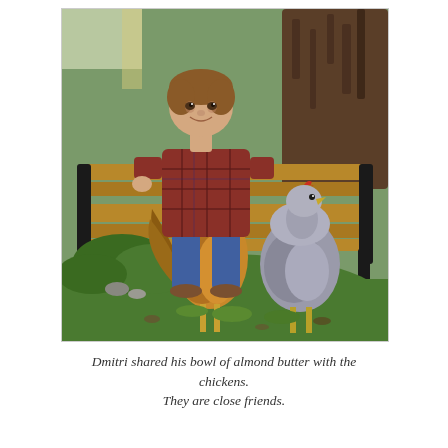[Figure (photo): A young boy with brown hair wearing a plaid flannel shirt and jeans sits on a dark wooden bench in front of a large tree. Two chickens stand in front of him on green ground cover — a large golden/orange rooster on the left and a grey hen on the right.]
Dmitri shared his bowl of almond butter with the chickens. They are close friends.